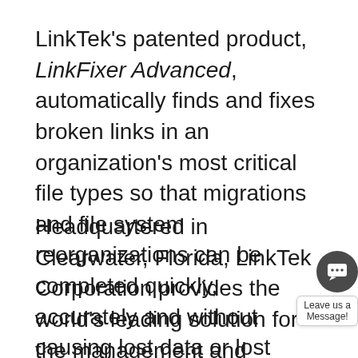LinkTek's patented product, LinkFixer Advanced, automatically finds and fixes broken links in an organization's most critical file types so that migrations and file system reorganizations can be completed quickly, accurately and without causing lost data or lost productivity due to broken file links.
Headquartered in Clearwater, Florida, LinkTek Corporation provides the world's leading solution for the management and automatic repair of file links found in today's most common file formats. LinkTek's purpose is to improve the lives of computer users, IT professionals, Records & Information Managers and CIOs by providing software that automatically repairs file links and also